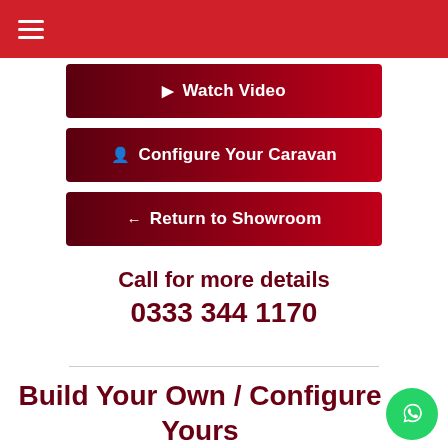Watch Video
Configure Your Caravan
Return to Showroom
Call for more details
0333 344 1170
Build Your Own / Configure Yours
Select to amend price